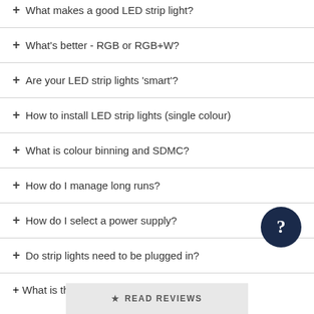+ What makes a good LED strip light?
+ What's better - RGB or RGB+W?
+ Are your LED strip lights 'smart'?
+ How to install LED strip lights (single colour)
+ What is colour binning and SDMC?
+ How do I manage long runs?
+ How do I select a power supply?
+ Do strip lights need to be plugged in?
+ What is th... lection pages?
★ READ REVIEWS